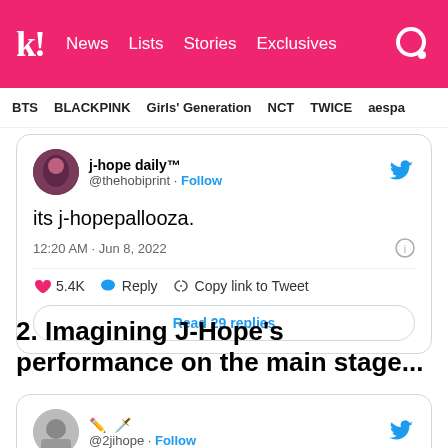k! News Lists Stories Exclusives
BTS  BLACKPINK  Girls' Generation  NCT  TWICE  aespa
[Figure (screenshot): Embedded tweet from @thehobiprint (j-hope daily™) reading 'its j-hopepallooza.' posted 12:20 AM · Jun 8, 2022 with 5.4K likes, Reply, Copy link to Tweet actions and Read 29 replies button]
2. Imagining J-Hope's performance on the main stage...
[Figure (screenshot): Partial embedded tweet from @2jihope with Follow link and Twitter bird icon visible at top of card]